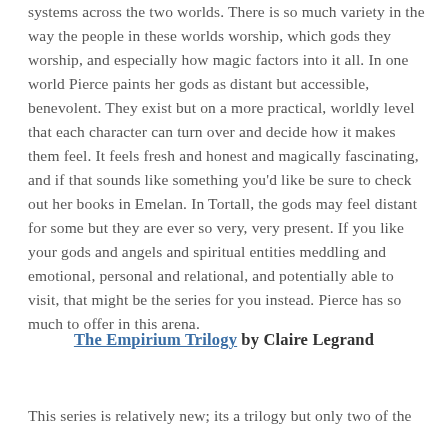systems across the two worlds. There is so much variety in the way the people in these worlds worship, which gods they worship, and especially how magic factors into it all. In one world Pierce paints her gods as distant but accessible, benevolent. They exist but on a more practical, worldly level that each character can turn over and decide how it makes them feel. It feels fresh and honest and magically fascinating, and if that sounds like something you'd like be sure to check out her books in Emelan. In Tortall, the gods may feel distant for some but they are ever so very, very present. If you like your gods and angels and spiritual entities meddling and emotional, personal and relational, and potentially able to visit, that might be the series for you instead. Pierce has so much to offer in this arena.
The Empirium Trilogy by Claire Legrand
This series is relatively new; its a trilogy but only two of the